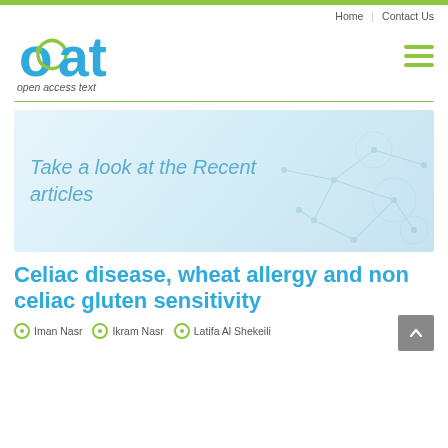Home | Contact Us
[Figure (logo): Open Access Text (OAT) logo — blue 'oat' text with green recycling arrow, italic 'open access text' subtitle]
[Figure (illustration): Banner image with italic text 'Take a look at the Recent articles' on light blue background with network/molecule graphic]
Celiac disease, wheat allergy and non celiac gluten sensitivity
Iman Nasr  Ikram Nasr  Latifa Al Shekeili